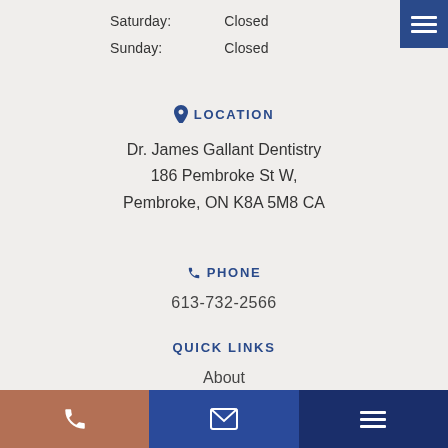Saturday:    Closed
Sunday:    Closed
[Figure (screenshot): Hamburger menu button, dark blue background, top right corner]
LOCATION
Dr. James Gallant Dentistry
186 Pembroke St W,
Pembroke, ON K8A 5M8 CA
PHONE
613-732-2566
QUICK LINKS
About
Services
[Figure (infographic): Bottom navigation bar with three sections: phone icon (brown), email icon (blue), hamburger menu icon (dark blue)]